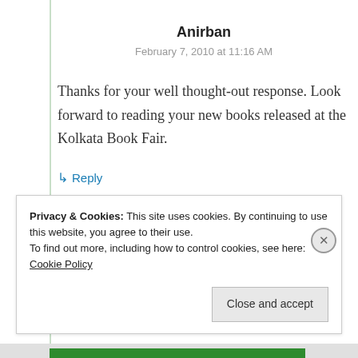Anirban
February 7, 2010 at 11:16 AM
Thanks for your well thought-out response. Look forward to reading your new books released at the Kolkata Book Fair.
↳ Reply
Privacy & Cookies: This site uses cookies. By continuing to use this website, you agree to their use.
To find out more, including how to control cookies, see here: Cookie Policy
Close and accept